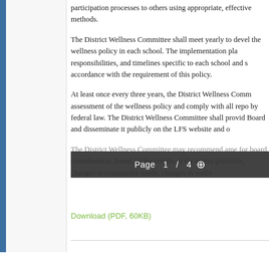participation processes to others using appropriate, effective methods.
The District Wellness Committee shall meet yearly to develop the wellness policy in each school. The implementation plan responsibilities, and timelines specific to each school and s accordance with the requirement of this policy.
At least once every three years, the District Wellness Comm assessment of the wellness policy and comply with all repo by federal law. The District Wellness Committee shall provid Board and disseminate it publicly on the LFS website and o
The District Wellness Committee may recommend amen for board consideration, based on the results of the assess priorities, changes in community needs, changes in wellness...
[Figure (screenshot): PDF viewer overlay showing page navigation: Page 1 / 4 with zoom icon]
Download (PDF, 60KB)